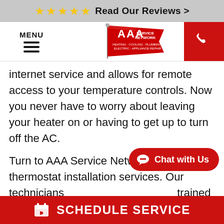★★★★★ Read Our Reviews >
[Figure (logo): AAA Service Network logo with red flag/banner. Text: AAA SERVICE NETWORK, HEATING · COOLING · PLUMBING, ELECTRIC · APPLIANCE REPAIR]
internet service and allows for remote access to your temperature controls. Now you never have to worry about leaving your heater on or having to get up to turn off the AC.
Turn to AAA Service Network for reliable thermostat installation services. Our technicians are trained in cutting-edge technology and can effectively install all major thermostat brands. We have been serving the community for over 40 years and keep
Chat with Us
SCHEDULE SERVICE